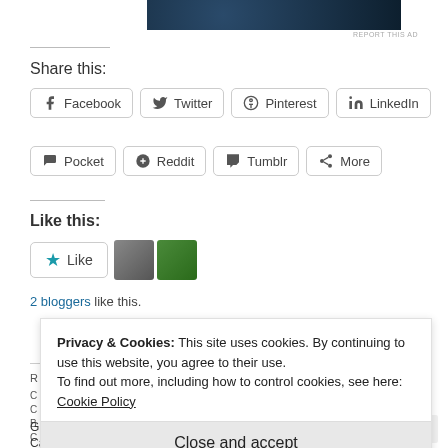[Figure (photo): Dark blue advertisement banner at top of page]
REPORT THIS AD
Share this:
Facebook
Twitter
Pinterest
LinkedIn
Pocket
Reddit
Tumblr
More
Like this:
Like
[Figure (photo): Two blogger avatar thumbnails next to Like button]
2 bloggers like this.
Privacy & Cookies: This site uses cookies. By continuing to use this website, you agree to their use.
To find out more, including how to control cookies, see here: Cookie Policy
Close and accept
Grower's Ally Appoints
Cannabis Industry Veteran